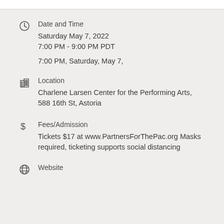Date and Time
Saturday May 7, 2022
7:00 PM - 9:00 PM PDT
7:00 PM, Saturday, May 7,
Location
Charlene Larsen Center for the Performing Arts, 588 16th St, Astoria
Fees/Admission
Tickets $17 at www.PartnersForThePac.org Masks required, ticketing supports social distancing
Website